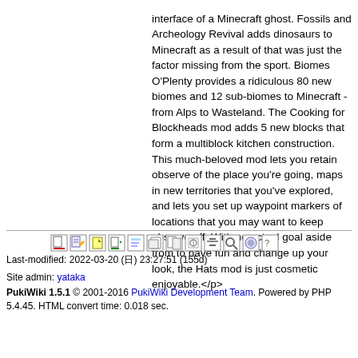interface of a Minecraft ghost. Fossils and Archeology Revival adds dinosaurs to Minecraft as a result of that was just the factor missing from the sport. Biomes O'Plenty provides a ridiculous 80 new biomes and 12 sub-biomes to Minecraft - from Alps to Wasteland. The Cooking for Blockheads mod adds 5 new blocks that form a multiblock kitchen construction. This much-beloved mod lets you retain observe of the place you're going, maps in new territories that you've explored, and lets you set up waypoint markers of locations that you may want to keep observe off. With no actual goal aside from to have fun and change up your look, the Hats mod is just cosmetic enjoyable.</p>
Last-modified: 2022-03-20 (日) 23:27:51 (155d)
Site admin: yataka
PukiWiki 1.5.1 © 2001-2016 PukiWiki Development Team. Powered by PHP 5.4.45. HTML convert time: 0.018 sec.